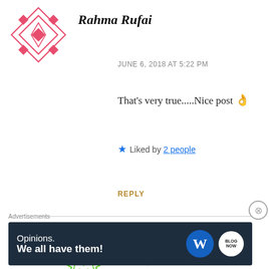[Figure (illustration): Pink/red geometric patterned avatar icon for Rahma Rufai]
Rahma Rufai
JUNE 6, 2018 AT 5:22 PM
That's very true.....Nice post 👌
★ Liked by 2 people
REPLY
[Figure (illustration): Green geometric patterned avatar icon for sharonchyy]
sharonchyy
JUNE 6, 2018 AT 7:52 PM
Advertisements
[Figure (other): WordPress advertisement banner: Opinions. We all have them! with WordPress and Blog logos]